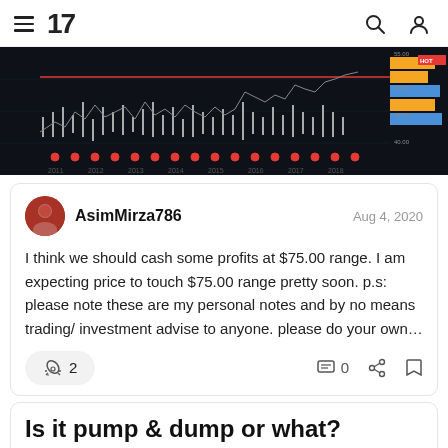TradingView navigation header with menu, logo, search, and user icons
[Figure (screenshot): Dark-background stock chart showing historical price data with candlesticks, red horizontal line, and colored horizontal bars (blue and yellow/gold) on the right side indicating support/resistance levels. X-axis shows years 2011–2020.]
AsimMirza786   Aug 4, 2020
I think we should cash some profits at $75.00 range. I am expecting price to touch $75.00 range pretty soon. p.s: please note these are my personal notes and by no means trading/ investment advise to anyone. please do your own…
🚀 2   💬 0
Is it pump & dump or what?
APT, 1D  ↘ SHORT